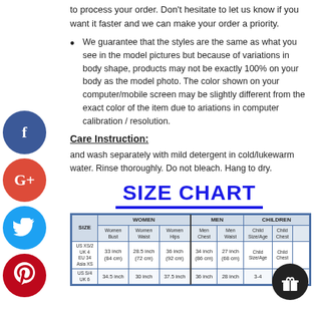to process your order. Don't hesitate to let us know if you want it faster and we can make your order a priority.
We guarantee that the styles are the same as what you see in the model pictures but because of variations in body shape, products may not be exactly 100% on your body as the model photo. The color shown on your computer/mobile screen may be slightly different from the exact color of the item due to variations in computer calibration / resolution.
Care Instruction:
Hand wash separately with mild detergent in cold/lukewarm water. Rinse thoroughly. Do not bleach. Hang to dry.
SIZE CHART
| SIZE | Women Bust | Women Waist | Women Hips | Men Chest | Men Waist | Child Size/Age | Child Chest |
| --- | --- | --- | --- | --- | --- | --- | --- |
| US XS/2 UK 4 EU 34 Asia XS | 33 inch (84 cm) | 28.5 inch (72 cm) | 36 inch (92 cm) | 34 inch (86 cm) | 27 inch (68 cm) | Child Size/Age | Child Chest |
| US S/4 UK 6 | 34.5 inch | 30 inch | 37.5 inch | 36 inch | 28 inch | 3-4 | 30 in | 37.0 |